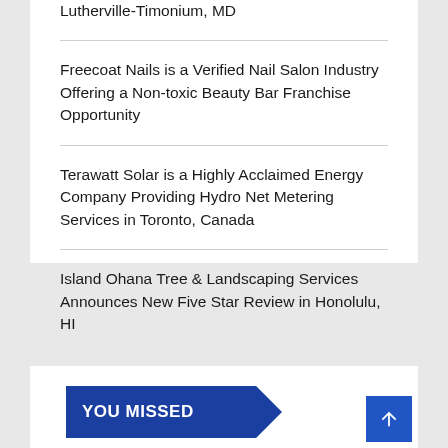Lutherville-Timonium, MD
Freecoat Nails is a Verified Nail Salon Industry Offering a Non-toxic Beauty Bar Franchise Opportunity
Terawatt Solar is a Highly Acclaimed Energy Company Providing Hydro Net Metering Services in Toronto, Canada
Island Ohana Tree & Landscaping Services Announces New Five Star Review in Honolulu, HI
YOU MISSED